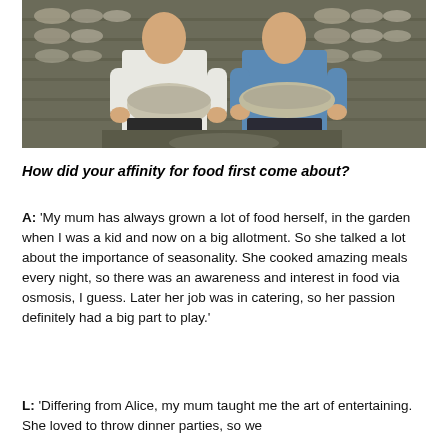[Figure (photo): Two women standing in a pottery studio, each holding ceramic bowls/plates. They are surrounded by shelves of unfired clay pottery. One woman wears a white top, the other a blue top.]
How did your affinity for food first come about?
A: 'My mum has always grown a lot of food herself, in the garden when I was a kid and now on a big allotment. So she talked a lot about the importance of seasonality. She cooked amazing meals every night, so there was an awareness and interest in food via osmosis, I guess. Later her job was in catering, so her passion definitely had a big part to play.'
L: 'Differing from Alice, my mum taught me the art of entertaining. She loved to throw dinner parties, so we